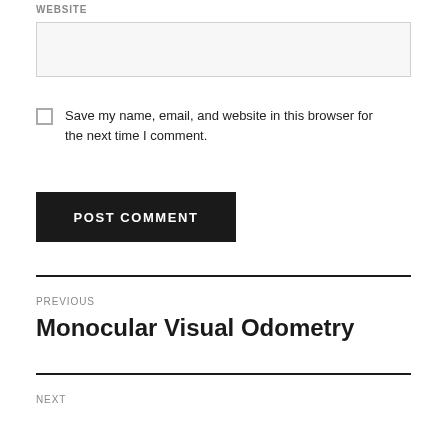WEBSITE
Save my name, email, and website in this browser for the next time I comment.
POST COMMENT
PREVIOUS
Monocular Visual Odometry
NEXT